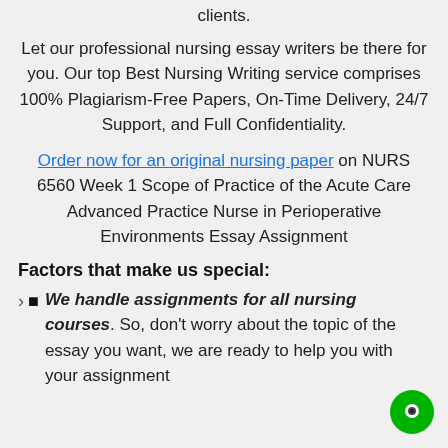clients.
Let our professional nursing essay writers be there for you. Our top Best Nursing Writing service comprises 100% Plagiarism-Free Papers, On-Time Delivery, 24/7 Support, and Full Confidentiality.
Order now for an original nursing paper on NURS 6560 Week 1 Scope of Practice of the Acute Care Advanced Practice Nurse in Perioperative Environments Essay Assignment
Factors that make us special:
We handle assignments for all nursing courses. So, don't worry about the topic of the essay you want, we are ready to help you with your assignment regardless of the course or topic.